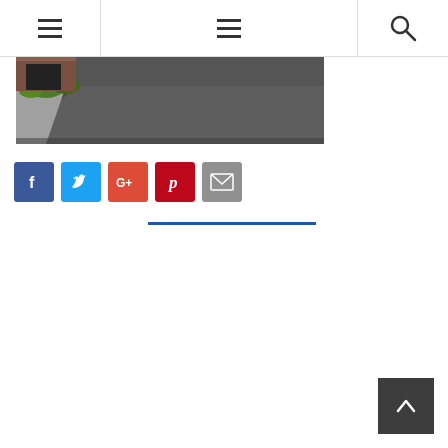[Figure (screenshot): Website navigation bar with two hamburger menu icons and a search icon]
[Figure (photo): Aerial/perspective photo of a dark concrete or asphalt driveway with green landscaping on the left side and a brick structure visible in the background]
[Figure (infographic): Social media sharing buttons: Facebook (blue), Twitter (light blue), Google+ (red-orange), Pinterest (red), Email (grey)]
[Figure (other): Blue horizontal divider line]
[Figure (other): Dark grey back-to-top arrow button in the bottom right corner]